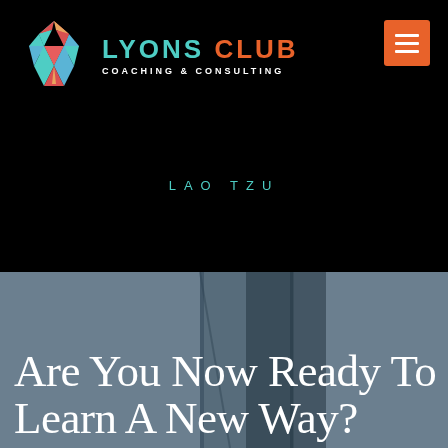[Figure (logo): Lyons Club Coaching & Consulting logo with colorful geometric polygon lion/bird icon on left, text 'LYONS CLUB' in teal and orange with 'COACHING & CONSULTING' subtitle in white, and orange hamburger menu button on right, all on black background]
LAO TZU
Are You Now Ready To Learn A New Way?